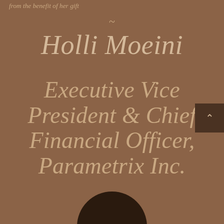from the benefit of her gift
~
Holli Moeini
Executive Vice President & Chief Financial Officer, Parametrix Inc.
[Figure (photo): Partial view of a person's head/portrait at the bottom of the page]